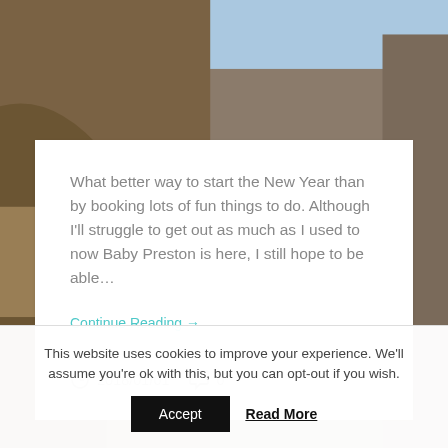[Figure (photo): Photo of a Gothic-style building with red brick architecture, a tall cathedral-like spire, and a circular metal sculpture or sign visible against a blue sky.]
What better way to start the New Year than by booking lots of fun things to do. Although I'll struggle to get out as much as I used to now Baby Preston is here, I still hope to be able…
Continue Reading →
2018/01/01   0
This website uses cookies to improve your experience. We'll assume you're ok with this, but you can opt-out if you wish.
Accept
Read More